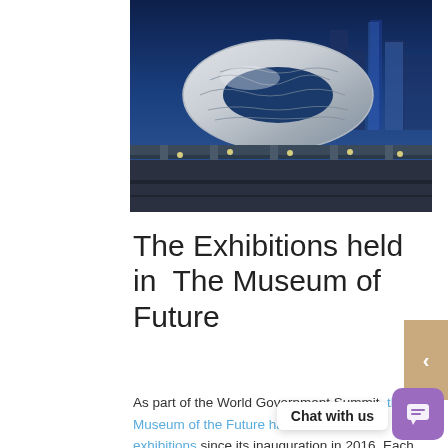[Figure (photo): Night photo of the Museum of the Future building in Dubai — a large silver oval/torus-shaped structure with Arabic calligraphy cutouts, illuminated in blue light, with highways and city buildings in the background.]
The Exhibitions held in  The Museum of Future
As part of the World Government Summit, the Museum of the Future has held several exhibitions since its inauguration in 2016. Each of the exhibitions had a different theme focused on the role of tec[hnology in] different sectors. The following below are